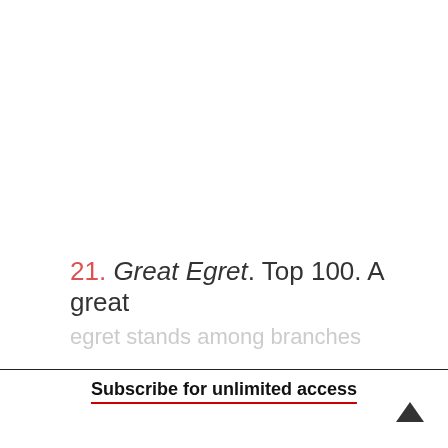21. Great Egret. Top 100. A great egret stands among branches
Read more +
Subscribe for unlimited access